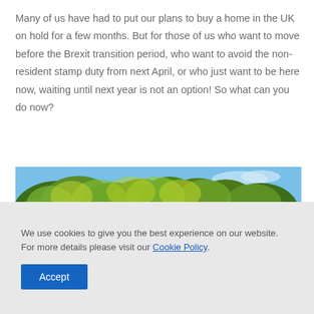Many of us have had to put our plans to buy a home in the UK on hold for a few months. But for those of us who want to move before the Brexit transition period, who want to avoid the non-resident stamp duty from next April, or who just want to be here now, waiting until next year is not an option! So what can you do now?
[Figure (photo): A traditional English thatched-roof cottage covered in flowering vines and climbing plants with colourful flowers, photographed under a blue sky.]
We use cookies to give you the best experience on our website. For more details please visit our Cookie Policy.
Accept